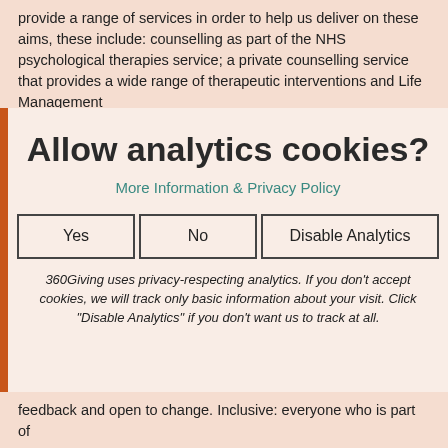provide a range of services in order to help us deliver on these aims, these include: counselling as part of the NHS psychological therapies service; a private counselling service that provides a wide range of therapeutic interventions and Life Management
Allow analytics cookies?
More Information & Privacy Policy
Yes   No   Disable Analytics
360Giving uses privacy-respecting analytics. If you don't accept cookies, we will track only basic information about your visit. Click "Disable Analytics" if you don't want us to track at all.
feedback and open to change. Inclusive: everyone who is part of